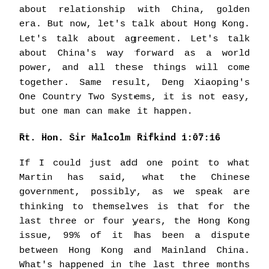about relationship with China, golden era. But now, let's talk about Hong Kong. Let's talk about agreement. Let's talk about China's way forward as a world power, and all these things will come together. Same result, Deng Xiaoping's One Country Two Systems, it is not easy, but one man can make it happen.
Rt. Hon. Sir Malcolm Rifkind 1:07:16
If I could just add one point to what Martin has said, what the Chinese government, possibly, as we speak are thinking to themselves is that for the last three or four years, the Hong Kong issue, 99% of it has been a dispute between Hong Kong and Mainland China. What's happened in the last three months is it's now become an international issue. It is now still Hong Kong versus China. But it's now China versus a very substantial part of the international community, including some of the